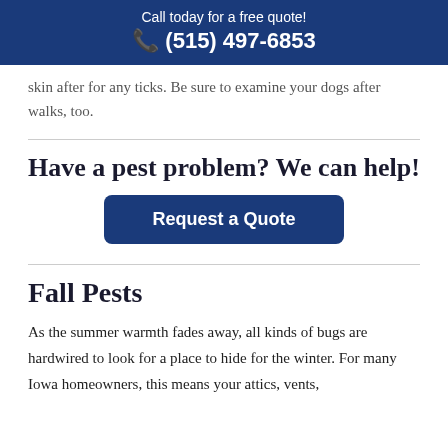Call today for a free quote!
☎ (515) 497-6853
skin after for any ticks. Be sure to examine your dogs after walks, too.
Have a pest problem? We can help!
[Figure (other): Blue rounded button labeled 'Request a Quote']
Fall Pests
As the summer warmth fades away, all kinds of bugs are hardwired to look for a place to hide for the winter. For many Iowa homeowners, this means your attics, vents,